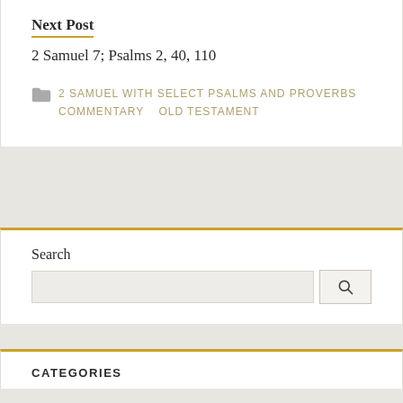Next Post
2 Samuel 7; Psalms 2, 40, 110
2 SAMUEL WITH SELECT PSALMS AND PROVERBS   COMMENTARY   OLD TESTAMENT
Search
CATEGORIES